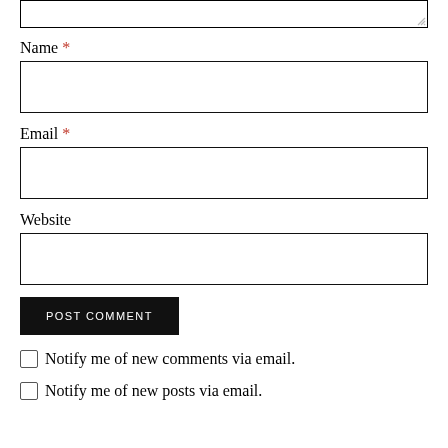[Figure (screenshot): Top portion of a text area input box with resize handle in bottom-right corner]
Name *
[Figure (screenshot): Empty text input box for Name field]
Email *
[Figure (screenshot): Empty text input box for Email field]
Website
[Figure (screenshot): Empty text input box for Website field]
POST COMMENT
Notify me of new comments via email.
Notify me of new posts via email.